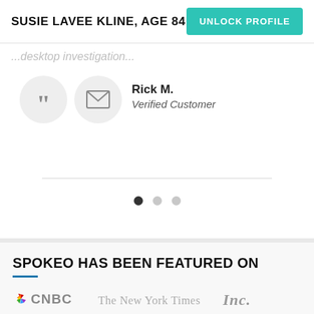SUSIE LAVEE KLINE, AGE 84
...desktop investigation...
Rick M.
Verified Customer
SPOKEO HAS BEEN FEATURED ON
[Figure (logo): CNBC logo, The New York Times logo, Inc. logo]
Disclaimer: Reference to these media outlets or TV shows should not be construed to imply an endorsement or sponsorship of Spokeo or its products.